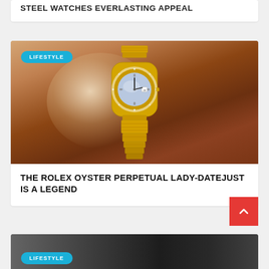STEEL WATCHES EVERLASTING APPEAL
[Figure (photo): Gold Rolex Oyster Perpetual Lady-Datejust watch with diamond bezel and mother-of-pearl dial, photographed against a rocky terracotta/brown stone background with dramatic lighting. A 'LIFESTYLE' badge appears in the top-left corner.]
THE ROLEX OYSTER PERPETUAL LADY-DATEJUST IS A LEGEND
[Figure (photo): Partial view of a dark-toned lifestyle photograph with watch details visible. A 'LIFESTYLE' badge appears in the bottom-left corner.]